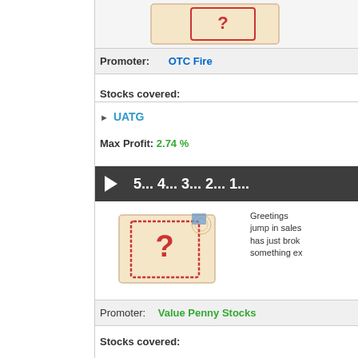[Figure (illustration): Envelope with question mark stamp, partially visible at top]
Promoter: OTC Fire
Stocks covered:
UATG
Max Profit: 2.74 %
► 5... 4... 3... 2... 1...
[Figure (illustration): Envelope with question mark stamp]
Greetings jump in sales has just brok something ex
Promoter: Value Penny Stocks
Stocks covered:
UATG
Max Profit: 10.24 %
► Woof!_Only_1_Epic_Ale